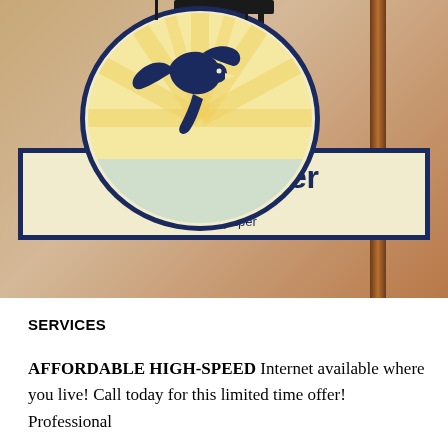[Figure (photo): Photograph of a hanging sign for 'Messenger Community Newspaper' mounted on a wooden post against a building. The sign features an oval shape with a dove/bird logo, sun rays in the background, and the text 'Messenger Community Newspaper' in dark navy blue on a cream background.]
SERVICES
AFFORDABLE HIGH-SPEED Internet available where you live! Call today for this limited time offer! Professional